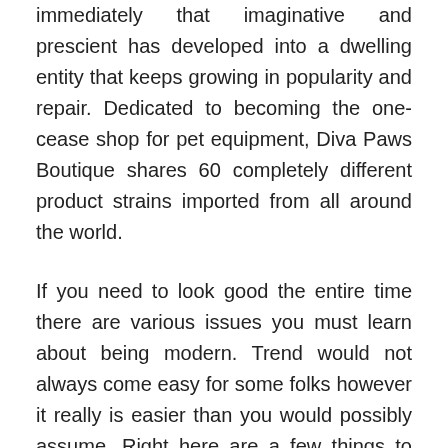immediately that imaginative and prescient has developed into a dwelling entity that keeps growing in popularity and repair. Dedicated to becoming the one-cease shop for pet equipment, Diva Paws Boutique shares 60 completely different product strains imported from all around the world.
If you need to look good the entire time there are various issues you must learn about being modern. Trend would not always come easy for some folks however it really is easier than you would possibly assume. Right here are a few things to consider once you need to look good all the time, even in case you are sporting a sweat suit.
Are you beginning a brand new job or looking to land that promotion? Do you wish to really feel extra confident and put-collectively at work? Head over to our Girls's Clothes